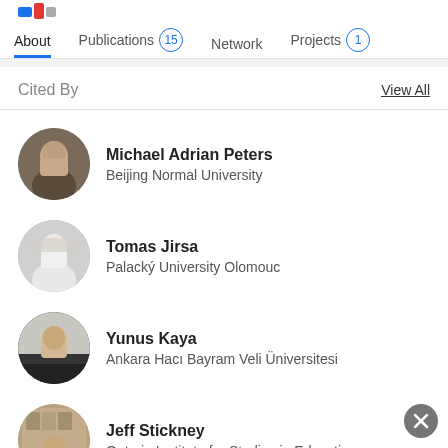About | Publications 15 | Network | Projects 1
Cited By
View All
Michael Adrian Peters
Beijing Normal University
Tomas Jirsa
Palacký University Olomouc
Yunus Kaya
Ankara Hacı Bayram Veli Üniversitesi
Jeff Stickney
Ontario Institute for Studies in Education
Cora Cuenca
Universidad de Sevilla